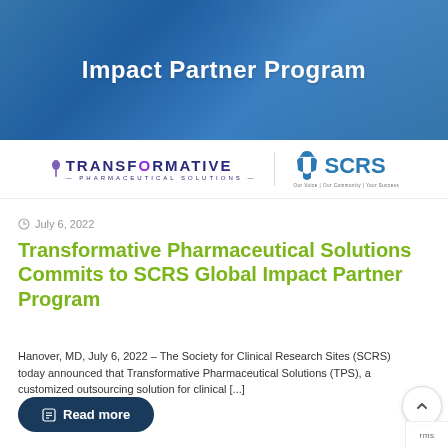[Figure (illustration): Blue geometric gradient banner with white bold text reading 'Impact Partner Program']
[Figure (logo): Transformative Pharmaceutical Solutions logo alongside SCRS logo]
July 6, 2022
Transformative Pharmaceutical Solutions Commits to SCRS Global Impact Partner Program
Hanover, MD, July 6, 2022 – The Society for Clinical Research Sites (SCRS) today announced that Transformative Pharmaceutical Solutions (TPS), a customized outsourcing solution for clinical [...]
Read more